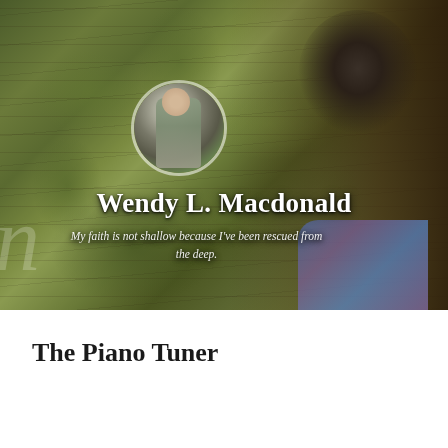[Figure (photo): A website header banner showing a woman standing near a moss-covered tree trunk. A smaller circular avatar photo is overlaid in the center showing a woman outdoors. The name 'Wendy L. Macdonald' appears in large white text with a tagline below.]
Wendy L. Macdonald
My faith is not shallow because I've been rescued from the deep.
The Piano Tuner